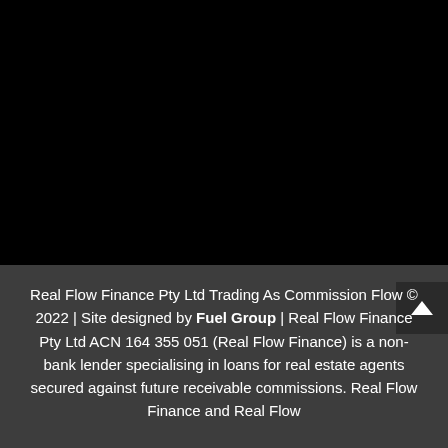[Figure (other): Black background area occupying top portion of the page]
Real Flow Finance Pty Ltd Trading As Commission Flow © 2022 | Site designed by Fuel Group | Real Flow Finance Pty Ltd ACN 164 355 051 (Real Flow Finance) is a non-bank lender specialising in loans for real estate agents secured against future receivable commissions. Real Flow Finance and Real Flow